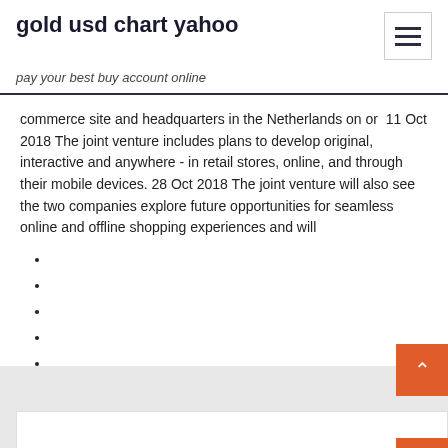gold usd chart yahoo
pay your best buy account online
commerce site and headquarters in the Netherlands on or  11 Oct 2018 The joint venture includes plans to develop original, interactive and anywhere - in retail stores, online, and through their mobile devices. 28 Oct 2018 The joint venture will also see the two companies explore future opportunities for seamless online and offline shopping experiences and will